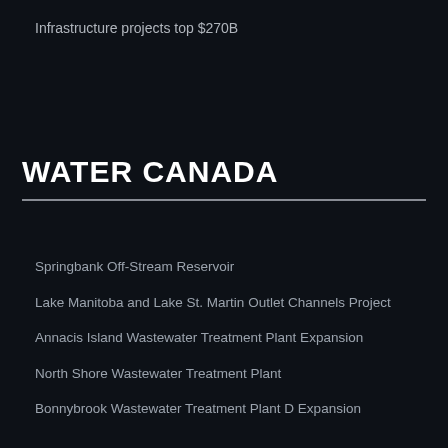Infrastructure projects top $270B
WATER CANADA
Springbank Off-Stream Reservoir
Lake Manitoba and Lake St. Martin Outlet Channels Project
Annacis Island Wastewater Treatment Plant Expansion
North Shore Wastewater Treatment Plant
Bonnybrook Wastewater Treatment Plant D Expansion